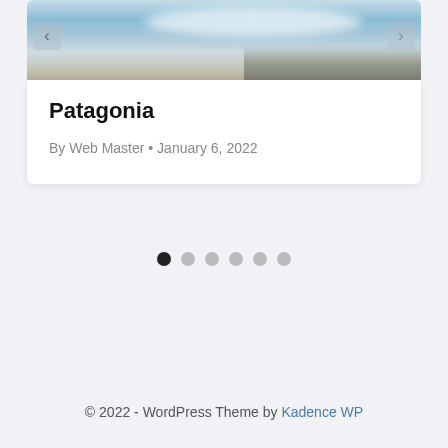[Figure (photo): Mountain landscape with blue sky and clouds, slider navigation arrows on left and right]
Patagonia
By Web Master • January 6, 2022
[Figure (other): Carousel dots navigation: 6 dots, first one active (dark), rest light gray]
© 2022 - WordPress Theme by Kadence WP